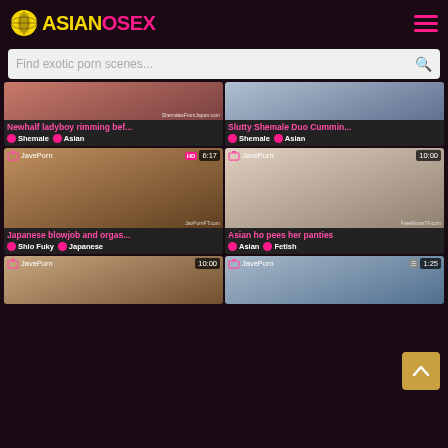ASIANOSEX
Find exotic porn scenes...
[Figure (screenshot): Video thumbnail - Newhalf ladyboy rimming]
Newhalf ladyboy rimming bef...
Shemale  Asian
[Figure (screenshot): Video thumbnail - Slutty Shemale Duo Cummin]
Slutty Shemale Duo Cummin...
Shemale  Asian
[Figure (screenshot): JavePorn 6:17 HD - Japanese blowjob and orgasm]
Japanese blowjob and orgas...
Shio Fuky  Japanese
[Figure (screenshot): JavePorn 10:00 - Asian ho pees her panties]
Asian ho pees her panties
Asian  Fetish
[Figure (screenshot): JavePorn 10:00 - bottom left video]
[Figure (screenshot): JavePorn 1:25 - bottom right video]